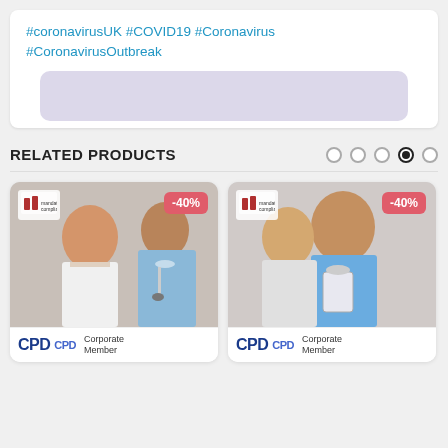#coronavirusUK #COVID19 #Coronavirus #CoronavirusOutbreak
RELATED PRODUCTS
[Figure (photo): Product card 1: Nurse with elderly patient, CPD Corporate Member badge, -40% discount]
[Figure (photo): Product card 2: Healthcare worker with child patient, CPD Corporate Member badge, -40% discount]